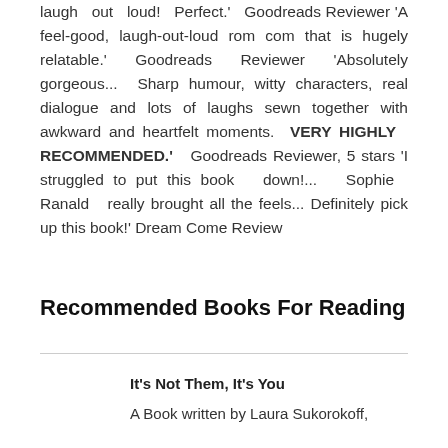laugh out loud! Perfect.' Goodreads Reviewer 'A feel-good, laugh-out-loud rom com that is hugely relatable.' Goodreads Reviewer 'Absolutely gorgeous... Sharp humour, witty characters, real dialogue and lots of laughs sewn together with awkward and heartfelt moments. VERY HIGHLY RECOMMENDED.' Goodreads Reviewer, 5 stars 'I struggled to put this book down!... Sophie Ranald really brought all the feels... Definitely pick up this book!' Dream Come Review
Recommended Books For Reading
It's Not Them, It's You
A Book written by Laura Sukorokoff,